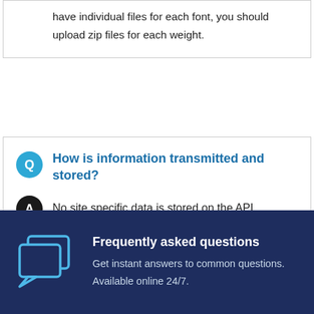have individual files for each font, you should upload zip files for each weight.
How is information transmitted and stored?
No site specific data is stored on the API.
[Figure (illustration): Two overlapping chat/speech bubble icons in light blue outline style on dark navy background]
Frequently asked questions
Get instant answers to common questions.
Available online 24/7.